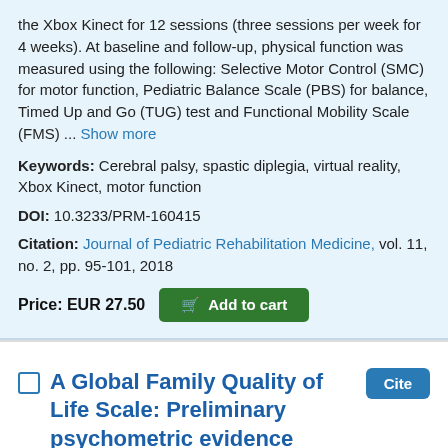the Xbox Kinect for 12 sessions (three sessions per week for 4 weeks). At baseline and follow-up, physical function was measured using the following: Selective Motor Control (SMC) for motor function, Pediatric Balance Scale (PBS) for balance, Timed Up and Go (TUG) test and Functional Mobility Scale (FMS) ... Show more
Keywords: Cerebral palsy, spastic diplegia, virtual reality, Xbox Kinect, motor function
DOI: 10.3233/PRM-160415
Citation: Journal of Pediatric Rehabilitation Medicine, vol. 11, no. 2, pp. 95-101, 2018
Price: EUR 27.50  Add to cart
A Global Family Quality of Life Scale: Preliminary psychometric evidence
Authors: Ridosh, Monique M. | Sawin, Kathleen J. | Brei, Timothy J. | Schiffman, Rachel F.
Article Type: Research Article